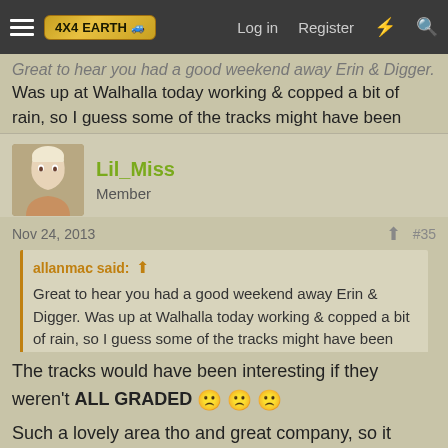4X4EARTH | Log in | Register
Great to hear you had a good weekend away Erin & Digger. Was up at Walhalla today working & copped a bit of rain, so I guess some of the tracks might have been 'interesting'....
Lil_Miss
Member
Nov 24, 2013  #35
allanmac said:
Great to hear you had a good weekend away Erin & Digger. Was up at Walhalla today working & copped a bit of rain, so I guess some of the tracks might have been 'interesting'....
The tracks would have been interesting if they weren't ALL GRADED
Such a lovely area tho and great company, so it made up for the